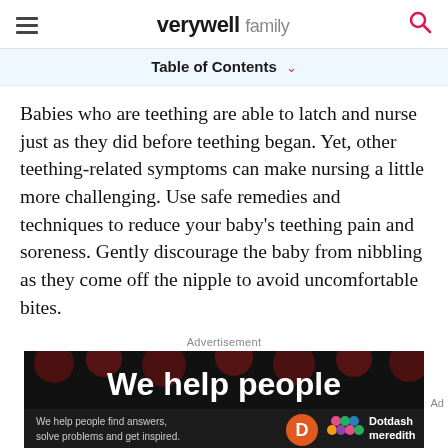verywell family
Table of Contents
Babies who are teething are able to latch and nurse just as they did before teething began. Yet, other teething-related symptoms can make nursing a little more challenging. Use safe remedies and techniques to reduce your baby's teething pain and soreness. Gently discourage the baby from nibbling as they come off the nipple to avoid uncomfortable bites.
Advertisement
[Figure (screenshot): Advertisement banner reading 'We help people' with Dotdash Meredith branding on dark background]